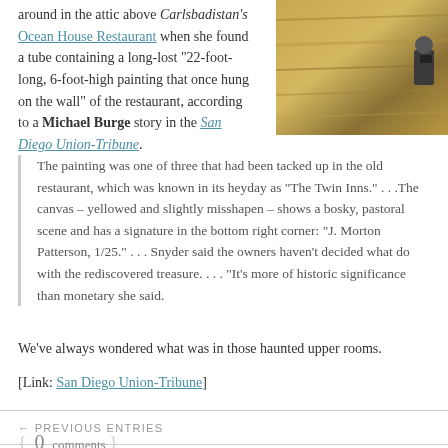around in the attic above Carlsbadistan's Ocean House Restaurant when she found a tube containing a long-lost "22-foot-long, 6-foot-high painting that once hung on the wall" of the restaurant, according to a Michael Burge story in the San Diego Union-Tribune.
[Figure (photo): Photo of a wooden surface or floor with a person visible at the right edge holding a camera or equipment]
The painting was one of three that had been tacked up in the old restaurant, which was known in its heyday as "The Twin Inns." . . .The canvas – yellowed and slightly misshapen – shows a bosky, pastoral scene and has a signature in the bottom right corner: "J. Morton Patterson, 1/25." . . . Snyder said the owners haven't decided what to do with the rediscovered treasure. . . . "It's more of historic significance than monetary," she said.
We've always wondered what was in those haunted upper rooms.
[Link: San Diego Union-Tribune]
{ 0 comments }
← PREVIOUS ENTRIES